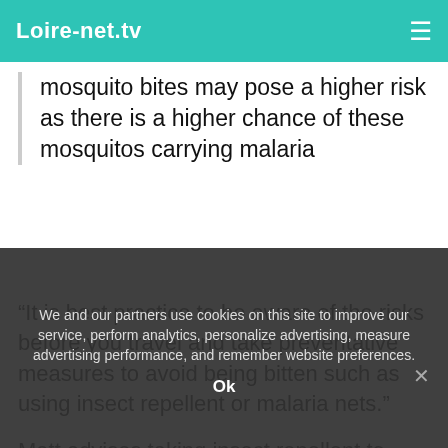Loire-net.tv
mosquito bites may pose a higher risk as there is a higher chance of these mosquitos carrying malaria
“It is best practice to be aware of the risks before you travel and take preventative measures to avoid being bitten such as using insect repellent or malaria nets.”
Matt advises taking insect repellent to countries where there is a risk of being bitten.
And he adds the repellent you use should contain 50 per cent
We and our partners use cookies on this site to improve our service, perform analytics, personalize advertising, measure advertising performance, and remember website preferences.
Ok